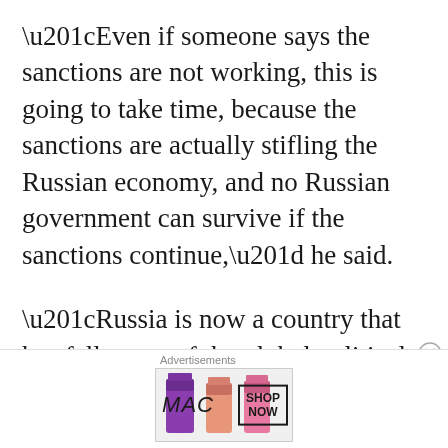“Even if someone says the sanctions are not working, this is going to take time, because the sanctions are actually stifling the Russian economy, and no Russian government can survive if the sanctions continue,” he said.
“Russia is now a country that has fallen out of the global political and economic process, and even its closest allies, the neighbouring dictatorships, have retreated
[Figure (other): MAC cosmetics advertisement banner showing lipsticks in purple, peach, and pink colors with MAC logo and SHOP NOW button]